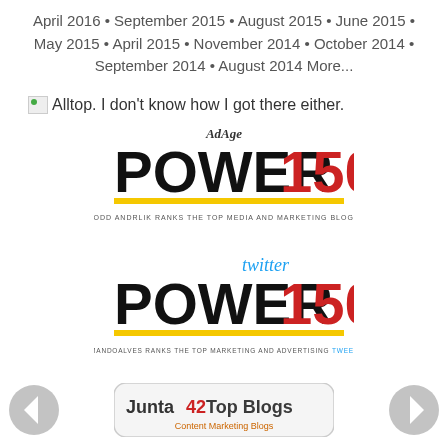April 2016 • September 2015 • August 2015 • June 2015 • May 2015 • April 2015 • November 2014 • October 2014 • September 2014 • August 2014 More...
Alltop. I don't know how I got there either.
[Figure (logo): AdAge Power 150 logo — black bold POWER text, red 150, yellow underline, tagline: TODD ANDRLIK RANKS THE TOP MEDIA AND MARKETING BLOGS]
[Figure (logo): Twitter Power 150 logo — black bold POWER text, red 150, cyan Twitter text above, yellow underline, tagline: ARMANDOALVES RANKS THE TOP MARKETING AND ADVERTISING TWEEPLE]
[Figure (logo): Junta42 Top Blogs badge — Content Marketing Blogs, rounded rectangle button style]